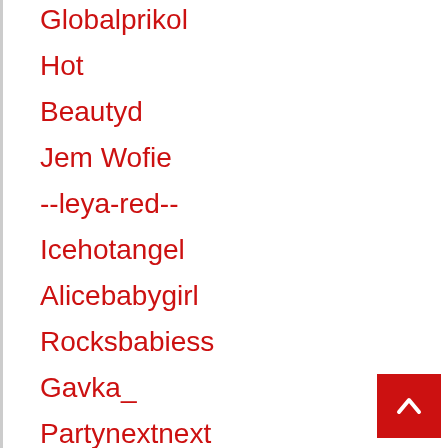Globalprikol
Hot
Beautyd
Jem Wofie
--leya-red--
Icehotangel
Alicebabygirl
Rocksbabiess
Gavka_
Partynextnext
Kamila5555555
Belosnezhka